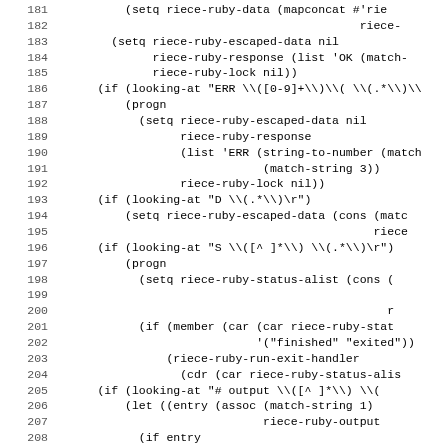[Figure (screenshot): Source code listing in Lisp/Emacs Lisp, lines 181-212, showing code related to riece-ruby functions including setq, progn, if, looking-at, and various riece-ruby variables and handlers. Lines are numbered on the left in gray, with code in monospace font on a white background.]